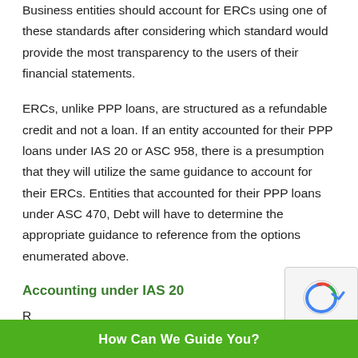Business entities should account for ERCs using one of these standards after considering which standard would provide the most transparency to the users of their financial statements.
ERCs, unlike PPP loans, are structured as a refundable credit and not a loan. If an entity accounted for their PPP loans under IAS 20 or ASC 958, there is a presumption that they will utilize the same guidance to account for their ERCs. Entities that accounted for their PPP loans under ASC 470, Debt will have to determine the appropriate guidance to reference from the options enumerated above.
Accounting under IAS 20
R